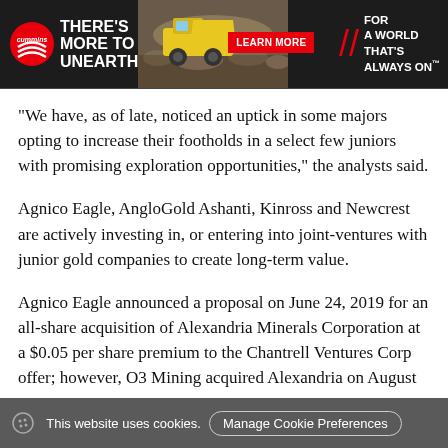[Figure (illustration): Cummins advertisement banner with tagline 'There's More to Unearth', a yellow mining truck, 'Learn More' red button, and 'For a World That's Always On' tagline on dark background]
“We have, as of late, noticed an uptick in some majors opting to increase their footholds in a select few juniors with promising exploration opportunities,” the analysts said.
Agnico Eagle, AngloGold Ashanti, Kinross and Newcrest are actively investing in, or entering into joint-ventures with junior gold companies to create long-term value.
Agnico Eagle announced a proposal on June 24, 2019 for an all-share acquisition of Alexandria Minerals Corporation at a $0.05 per share premium to the Chantrell Ventures Corp offer; however, O3 Mining acquired Alexandria on August 1, 2019.
This website uses cookies.   Manage Cookie Preferences